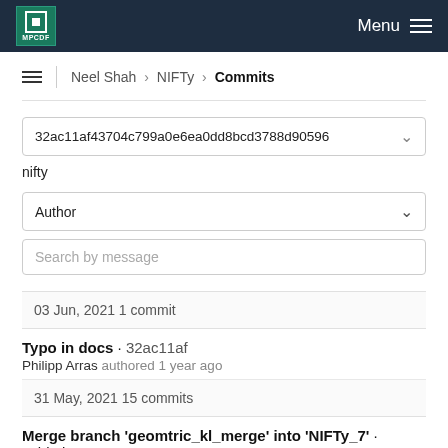MPCDF Menu
Neel Shah > NIFTy > Commits
32ac11af43704c799a0e6ea0dd8bcd3788d90596
nifty
Author
Search by message
03 Jun, 2021 1 commit
Typo in docs · 32ac11af
Philipp Arras authored 1 year ago
31 May, 2021 15 commits
Merge branch 'geomtric_kl_merge' into 'NIFTy_7' · c7bbcba3